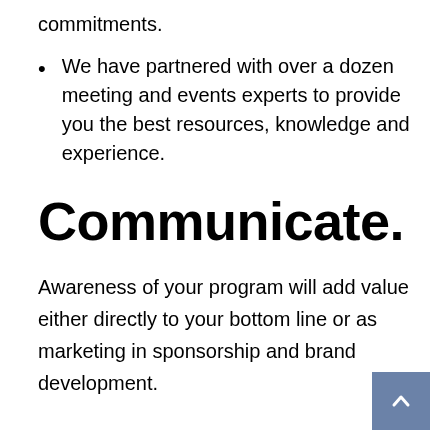commitments.
We have partnered with over a dozen meeting and events experts to provide you the best resources, knowledge and experience.
Communicate.
Awareness of your program will add value either directly to your bottom line or as marketing in sponsorship and brand development.